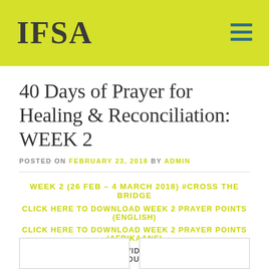IFSA
40 Days of Prayer for Healing & Reconciliation: WEEK 2
POSTED ON FEBRUARY 23, 2018 BY ADMIN
WEEK 2 (26 FEB – 4 MARCH 2018) #CROSS THE BRIDGE
CLICK HERE TO DOWNLOAD WEEK 2 PRAYER POINTS (ENGLISH)
CLICK HERE TO DOWNLOAD WEEK 2 PRAYER POINTS (AFRIKAANS)
CLICK ON THE LINK PROVIDED TO WATCH THE VIDEO ON YOUTUBE
[Figure (other): Two video thumbnail boxes side by side]